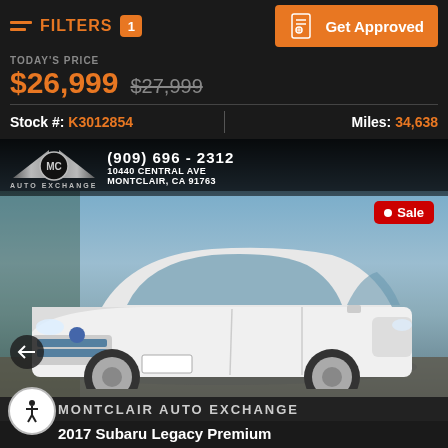FILTERS 1 | Get Approved
TODAY'S PRICE $26,999 $27,999
Stock #: K3012854 | Miles: 34,638
[Figure (photo): White 2017 Subaru Legacy Premium sedan photographed at dealer lot with MC Auto Exchange branding, phone (909) 696-2312, address 10440 Central Ave Montclair CA 91763, and a red Sale badge.]
MONTCLAIR AUTO EXCHANGE
2017 Subaru Legacy Premium